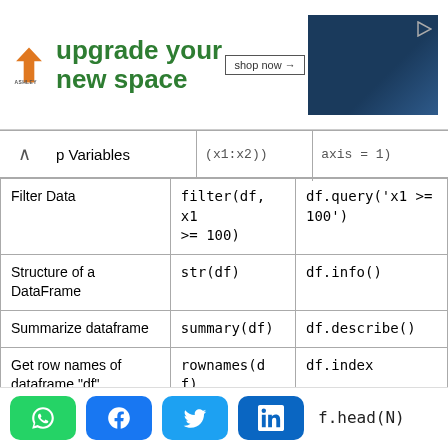[Figure (other): Ashley Furniture advertisement banner: orange house icon, 'upgrade your new space' in green bold text, 'shop now →' button, photo of dark blue couch with pillows]
| Description | R | Python |
| --- | --- | --- |
| p Variables | (x1:x2)) | axis = 1) |
| Filter Data | filter(df, x1 >= 100) | df.query('x1 >= 100') |
| Structure of a DataFrame | str(df) | df.info() |
| Summarize dataframe | summary(df) | df.describe() |
| Get row names of dataframe "df" | rownames(df) | df.index |
| Get column names | colnames(df) | df.columns |
|  |  | f.head(N) |
[Figure (other): Social sharing bar with WhatsApp (green), Facebook (blue), Twitter (light blue), LinkedIn (dark blue) buttons, and partial text 'f.head(N)']